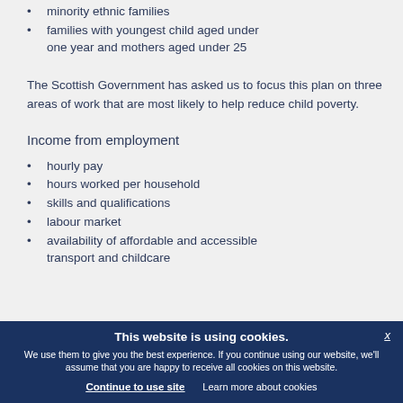minority ethnic families
families with youngest child aged under one year and mothers aged under 25
The Scottish Government has asked us to focus this plan on three areas of work that are most likely to help reduce child poverty.
Income from employment
hourly pay
hours worked per household
skills and qualifications
labour market
availability of affordable and accessible transport and childcare
This website is using cookies. We use them to give you the best experience. If you continue using our website, we'll assume that you are happy to receive all cookies on this website. Continue to use site | Learn more about cookies